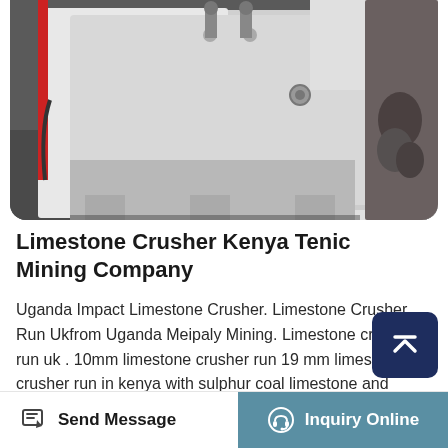[Figure (photo): Close-up photo of a large white industrial limestone crusher machine in a warehouse/factory setting. The machine has a boxy white painted metal body with mechanical components visible. Various industrial equipment and materials are visible in the background.]
Limestone Crusher Kenya Tenic Mining Company
Uganda Impact Limestone Crusher. Limestone Crusher Run Ukfrom Uganda Meipaly Mining. Limestone crusher run uk . 10mm limestone crusher run 19 mm limestone crusher run in kenya with sulphur coal limestone and petrolm kenya and tanzania produce sea salt and some inland lake and subsoil brine salt page 19 through a roll